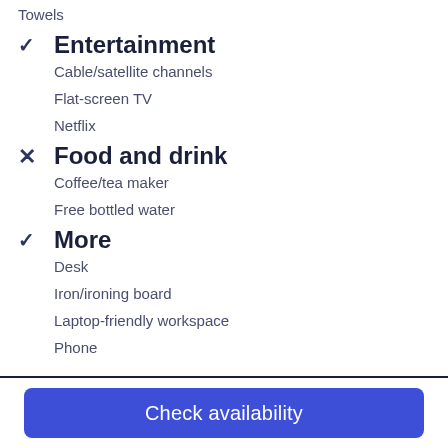Towels
Entertainment
Cable/satellite channels
Flat-screen TV
Netflix
Food and drink
Coffee/tea maker
Free bottled water
More
Desk
Iron/ironing board
Laptop-friendly workspace
Phone
Check availability